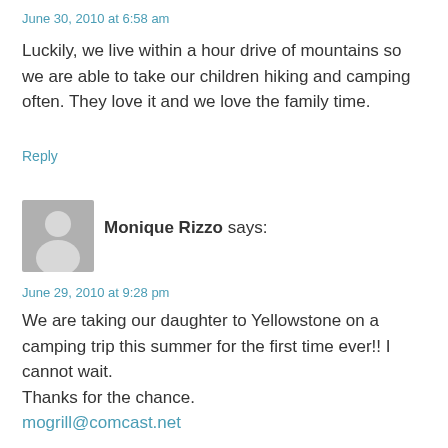June 30, 2010 at 6:58 am
Luckily, we live within a hour drive of mountains so we are able to take our children hiking and camping often. They love it and we love the family time.
Reply
[Figure (illustration): Gray avatar silhouette placeholder image]
Monique Rizzo says:
June 29, 2010 at 9:28 pm
We are taking our daughter to Yellowstone on a camping trip this summer for the first time ever!! I cannot wait.
Thanks for the chance.
mogrill@comcast.net